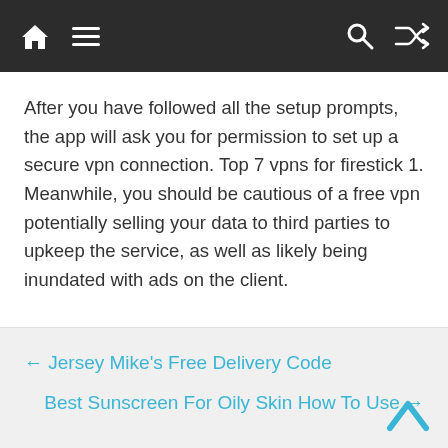Navigation bar with home, menu, search, and shuffle icons
After you have followed all the setup prompts, the app will ask you for permission to set up a secure vpn connection. Top 7 vpns for firestick 1. Meanwhile, you should be cautious of a free vpn potentially selling your data to third parties to upkeep the service, as well as likely being inundated with ads on the client.
← Jersey Mike's Free Delivery Code
Best Sunscreen For Oily Skin How To Use →